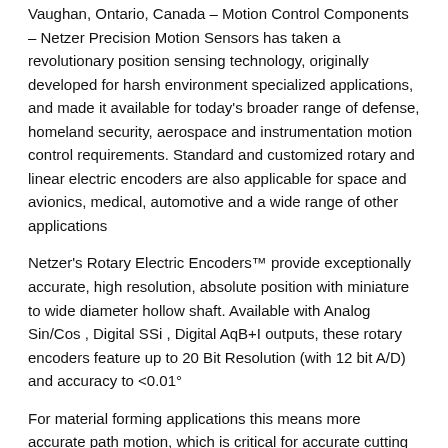Vaughan, Ontario, Canada – Motion Control Components – Netzer Precision Motion Sensors has taken a revolutionary position sensing technology, originally developed for harsh environment specialized applications, and made it available for today's broader range of defense, homeland security, aerospace and instrumentation motion control requirements. Standard and customized rotary and linear electric encoders are also applicable for space and avionics, medical, automotive and a wide range of other applications
Netzer's Rotary Electric Encoders™ provide exceptionally accurate, high resolution, absolute position with miniature to wide diameter hollow shaft. Available with Analog Sin/Cos , Digital SSi , Digital AqB+I outputs, these rotary encoders feature up to 20 Bit Resolution (with 12 bit A/D) and accuracy to <0.01°
For material forming applications this means more accurate path motion, which is critical for accurate cutting and bending. For packaging, food, and converting applications, it means more accurate web tracking, sealing, gluing, cutting, and slitting. All of this is critical for today's more complex consumer packaging. With coordinated motion blocks and enhanced capabilities, such as three-axis coordinated linear motion as standard, KAS is an ideal solution for more applications than ever before. A template project complete with preconfigured motion blocks, automation code and GUI code helps